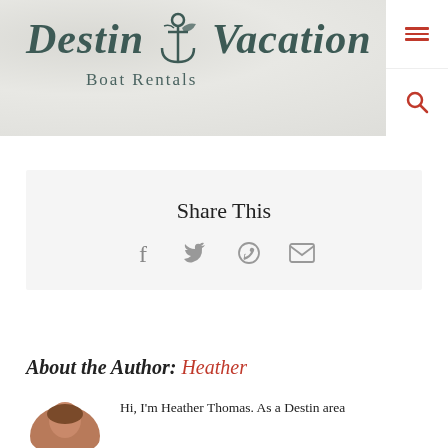[Figure (logo): Destin Vacation Boat Rentals logo with anchor icon, teal/dark green italic script text, on textured grey background]
Share This
[Figure (infographic): Social share icons: Facebook, Twitter, WhatsApp, Email]
About the Author: Heather
Hi, I'm Heather Thomas. As a Destin area